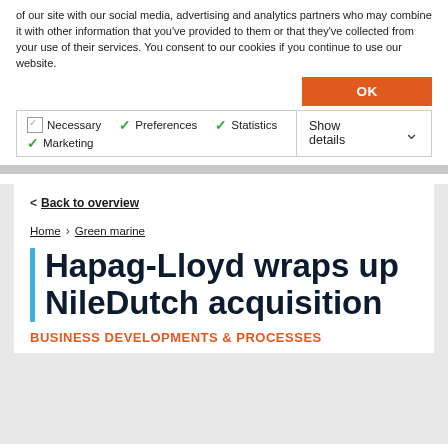of our site with our social media, advertising and analytics partners who may combine it with other information that you've provided to them or that they've collected from your use of their services. You consent to our cookies if you continue to use our website.
OK
Necessary   Preferences   Statistics   Marketing   Show details
< Back to overview
Home > Green marine
Hapag-Lloyd wraps up NileDutch acquisition
BUSINESS DEVELOPMENTS & PROCESSES